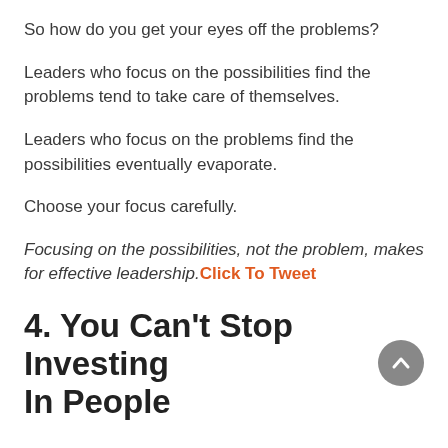So how do you get your eyes off the problems?
Leaders who focus on the possibilities find the problems tend to take care of themselves.
Leaders who focus on the problems find the possibilities eventually evaporate.
Choose your focus carefully.
Focusing on the possibilities, not the problem, makes for effective leadership. Click To Tweet
4. You Can't Stop Investing In People